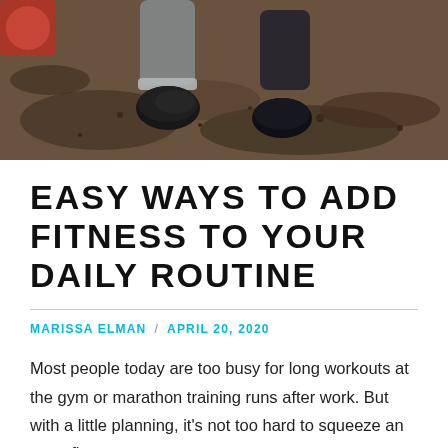[Figure (photo): Close-up photo of running legs on dirt/gravel ground, wearing dark shoes and gray/dark pants, shot from below knees down. A red element visible at top-left corner.]
EASY WAYS TO ADD FITNESS TO YOUR DAILY ROUTINE
MARISSA ELMAN / APRIL 20, 2020
Most people today are too busy for long workouts at the gym or marathon training runs after work. But with a little planning, it's not too hard to squeeze an extra five or ten